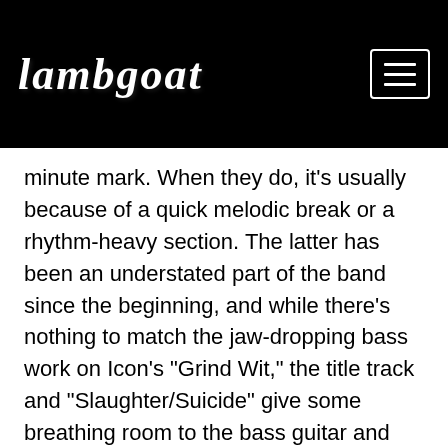lambgoat
minute mark. When they do, it's usually because of a quick melodic break or a rhythm-heavy section. The latter has been an understated part of the band since the beginning, and while there's nothing to match the jaw-dropping bass work on Icon's "Grind Wit," the title track and "Slaughter/Suicide" give some breathing room to the bass guitar and drums. The title tune also has a surprising tribal-sounding percussion section that somehow fits into the madness contained in the rest of the track.
What sets this music apart from other groups trying to make extreme death metal is the enormous range of